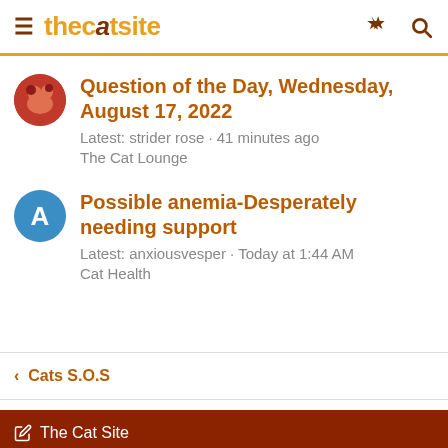thecatsite
Question of the Day, Wednesday, August 17, 2022
Latest: strider rose · 41 minutes ago
The Cat Lounge
Possible anemia-Desperately needing support
Latest: anxiousvesper · Today at 1:44 AM
Cat Health
< Cats S.O.S
The Cat Site
Contact Us  Terms and Rules  Privacy Policy  Help
TheCatSite.com is a community of cat lovers dedicated to quality cat care